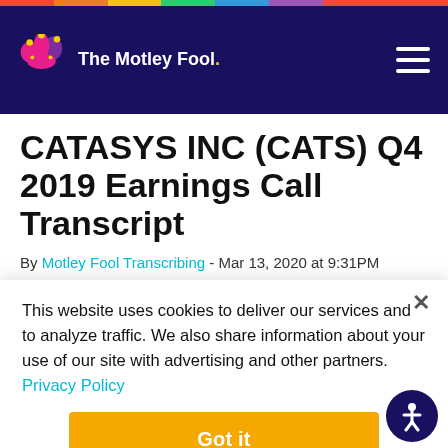The Motley Fool
CATASYS INC (CATS) Q4 2019 Earnings Call Transcript
By Motley Fool Transcribing - Mar 13, 2020 at 9:31PM
You're reading a free article with opinions that may differ
This website uses cookies to deliver our services and to analyze traffic. We also share information about your use of our site with advertising and other partners. Privacy Policy
Got it
Cookie Settings